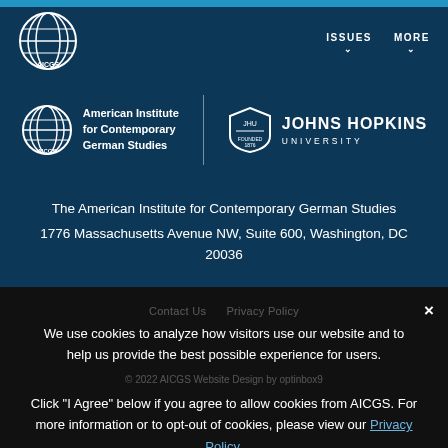[Figure (logo): AICGS globe logo in navigation bar]
ISSUES ∨   MORE ∨
[Figure (logo): AICGS full logo with globe icon and text: American Institute for Contemporary German Studies]
[Figure (logo): Johns Hopkins University shield logo with text JOHNS HOPKINS UNIVERSITY]
The American Institute for Contemporary German Studies
1776 Massachusetts Avenue NW, Suite 600, Washington, DC 20036
We use cookies to analyze how visitors use our website and to help us provide the best possible experience for users.
Click "I Agree" below if you agree to allow cookies from AICGS. For more information or to opt-out of cookies, please view our Privacy Policy.